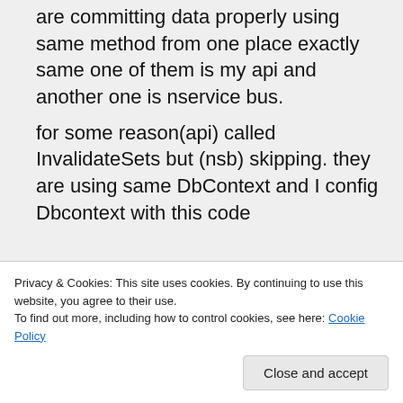are committing data properly using same method from one place exactly same one of them is my api and another one is nservice bus. for some reason(api) called InvalidateSets but (nsb) skipping. they are using same DbContext and I config Dbcontext with this code
Privacy & Cookies: This site uses cookies. By continuing to use this website, you agree to their use. To find out more, including how to control cookies, see here: Cookie Policy
{